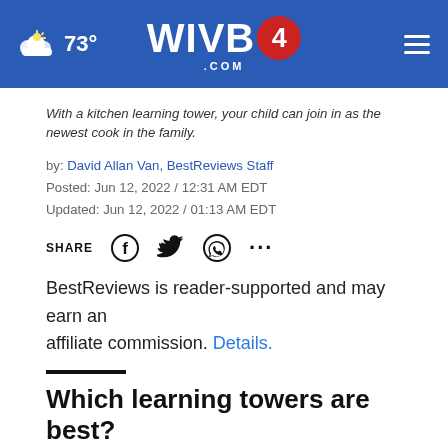73° WIVB4.COM
With a kitchen learning tower, your child can join in as the newest cook in the family.
by: David Allan Van, BestReviews Staff
Posted: Jun 12, 2022 / 12:31 AM EDT
Updated: Jun 12, 2022 / 01:13 AM EDT
SHARE [Facebook] [Twitter] [WhatsApp] [...]
BestReviews is reader-supported and may earn an affiliate commission. Details.
Which learning towers are best?
Kitchen counters are built at a standard height of 36